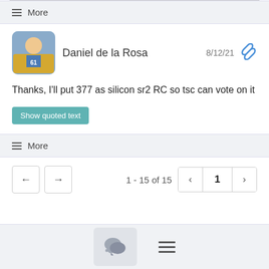≡ More
Daniel de la Rosa  8/12/21
Thanks, I'll put 377 as silicon sr2 RC so tsc can vote on it
≡ More
1 - 15 of 15  1
[Figure (screenshot): Bottom navigation bar with chat bubble icon and hamburger menu icon]